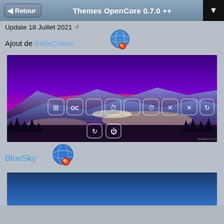Themes OpenCore 0.7.0 ++
Update 18 Juillet 2021
Ajout de BellaColore
[Figure (screenshot): BellaColore OpenCore theme screenshot showing a purple/pink gradient landscape with mountains and silhouetted trees, with a row of boot option icons in the middle]
BlueSky
[Figure (screenshot): BlueSky OpenCore theme screenshot showing a dark blue gradient background]